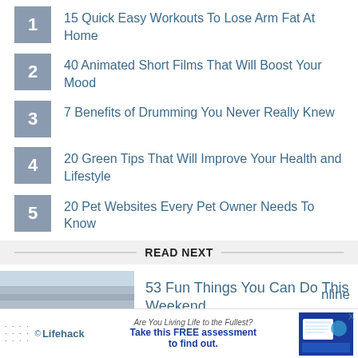15 Quick Easy Workouts To Lose Arm Fat At Home
40 Animated Short Films That Will Boost Your Mood
7 Benefits of Drumming You Never Really Knew
20 Green Tips That Will Improve Your Health and Lifestyle
20 Pet Websites Every Pet Owner Needs To Know
READ NEXT
[Figure (photo): People sitting on beach chairs looking at the ocean]
53 Fun Things You Can Do This Weekend
[Figure (screenshot): Lifehack advertisement: Are You Living Life to the Fullest? Take this FREE assessment to find out.]